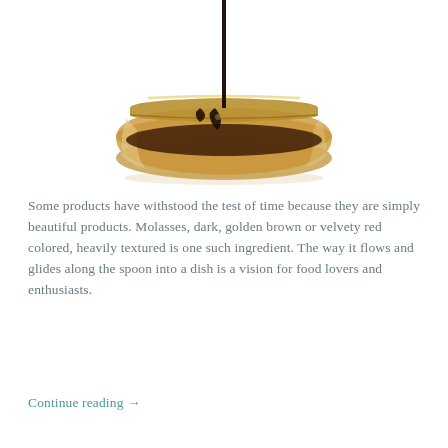[Figure (photo): A glass jar filled with dark molasses being poured from above with a dark stream against a white background.]
Some products have withstood the test of time because they are simply beautiful products. Molasses, dark, golden brown or velvety red colored, heavily textured is one such ingredient. The way it flows and glides along the spoon into a dish is a vision for food lovers and enthusiasts.
Continue reading →